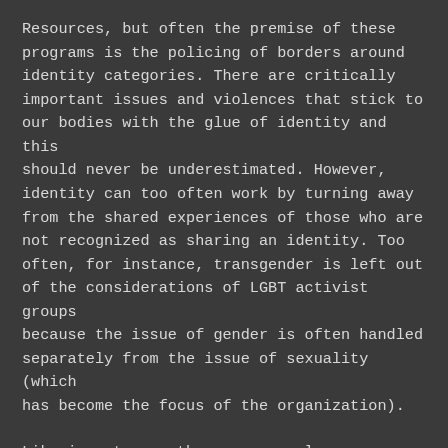Resources, but often the premise of these programs is the policing of borders around identity categories. There are critically important issues and violences that stick to our bodies with the glue of identity and this should never be underestimated. However, identity can too often work by turning away from the shared experiences of those who are not recognized as sharing an identity. Too often, for instance, transgender is left out of the considerations of LGBT activist groups because the issue of gender is often handled separately from the issue of sexuality (which has become the focus of the organization).
Likewise, to use the same example, transgender is rarely considered a part of the disability rights movement, despite the shared experiences with social mechanisms of diagnosis, treatment with drugs or surgery, and a history of alienation, stigma and